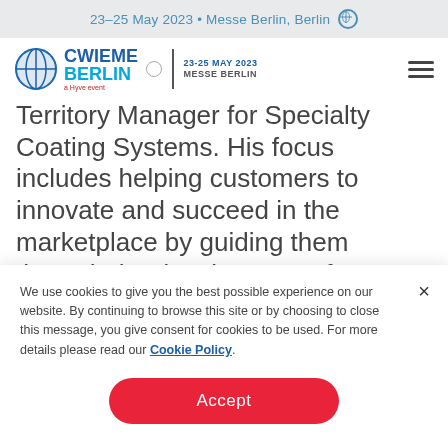23–25 May 2023 • Messe Berlin, Berlin
[Figure (logo): CWIEME Berlin logo with globe icon, date badge 23-25 May 2023 Messe Berlin, and hamburger menu icon]
Territory Manager for Specialty Coating Systems. His focus includes helping customers to innovate and succeed in the marketplace by guiding them through the development of a
We use cookies to give you the best possible experience on our website. By continuing to browse this site or by choosing to close this message, you give consent for cookies to be used. For more details please read our Cookie Policy.
Accept